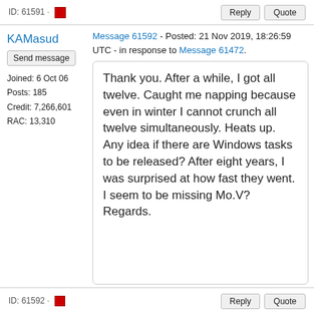ID: 61591 · [x]  Reply  Quote
KAMasud
Send message
Joined: 6 Oct 06
Posts: 185
Credit: 7,266,601
RAC: 13,310
Message 61592 - Posted: 21 Nov 2019, 18:26:59 UTC - in response to Message 61472.
Thank you. After a while, I got all twelve. Caught me napping because even in winter I cannot crunch all twelve simultaneously. Heats up.
Any idea if there are Windows tasks to be released? After eight years, I was surprised at how fast they went.
I seem to be missing Mo.V?
Regards.
ID: 61592 · [x]  Reply  Quote